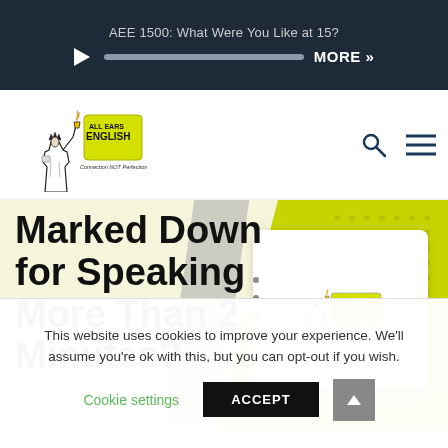AEE 1500: What Were You Like at 15?
[Figure (logo): All Ears English logo with Statue of Liberty illustration and tagline 'Connection NOT Perfection']
Marked Down for Speaking More Than 2 Minutes?
[Figure (illustration): Hero section with yellow-green background, decorative dots, gray diagonal element, and a white card with All Ears English logo]
This website uses cookies to improve your experience. We'll assume you're ok with this, but you can opt-out if you wish.
Cookie settings
ACCEPT